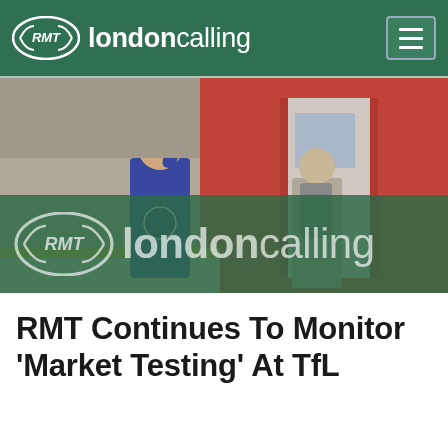RMT londoncalling
[Figure (photo): Train platform scene with a worker in blue uniform raising hand toward a red London Underground train, with a passenger nearby]
[Figure (logo): RMT londoncalling logo overlaid on green semi-transparent banner at bottom of photo]
RMT Continues To Monitor 'Market Testing' At TfL